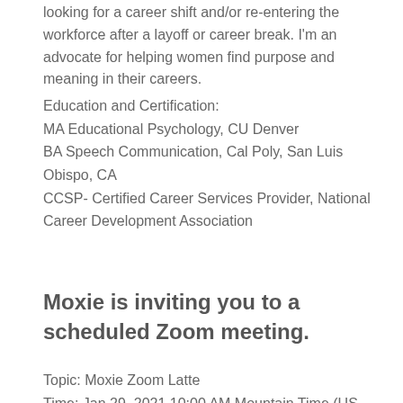looking for a career shift and/or re-entering the workforce after a layoff or career break. I'm an advocate for helping women find purpose and meaning in their careers.
Education and Certification:
MA Educational Psychology, CU Denver
BA Speech Communication, Cal Poly, San Luis Obispo, CA
CCSP- Certified Career Services Provider, National Career Development Association
Moxie is inviting you to a scheduled Zoom meeting.
Topic: Moxie Zoom Latte
Time: Jan 29, 2021 10:00 AM Mountain Time (US and Canada)
Every week on Fri, until Mar 5, 2021, 6 occurrence(s)